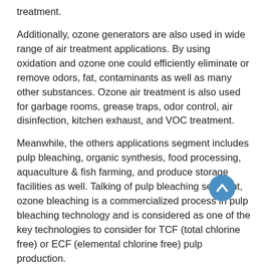treatment.
Additionally, ozone generators are also used in wide range of air treatment applications. By using oxidation and ozone one could efficiently eliminate or remove odors, fat, contaminants as well as many other substances. Ozone air treatment is also used for garbage rooms, grease traps, odor control, air disinfection, kitchen exhaust, and VOC treatment.
Meanwhile, the others applications segment includes pulp bleaching, organic synthesis, food processing, aquaculture & fish farming, and produce storage facilities as well. Talking of pulp bleaching segment, ozone bleaching is a commercialized process in pulp bleaching technology and is considered as one of the key technologies to consider for TCF (total chlorine free) or ECF (elemental chlorine free) pulp production.
Ozone has been used in aquaculture and fish farms since it has a rapid reaction rate and produces few harmful reaction by-products in freshwater. Ozone based solutions could also provide instrumentation that monitors main parameters like ammonia,